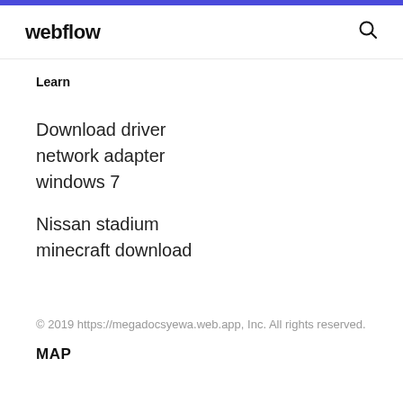webflow
Learn
Download driver network adapter windows 7
Nissan stadium minecraft download
© 2019 https://megadocsyewa.web.app, Inc. All rights reserved.
MAP